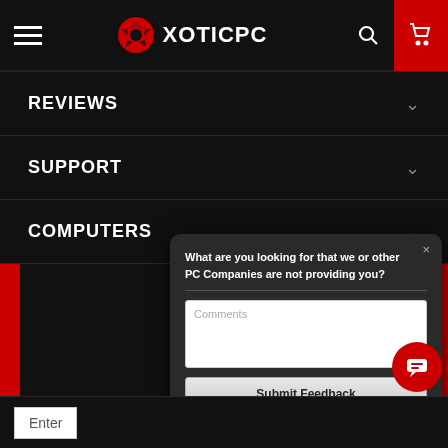XOTICPC
REVIEWS
SUPPORT
COMPUTERS
What are you looking for that we or other PC Companies are not providing you?
Comments
Submit Feedback
Powered by luckyorange